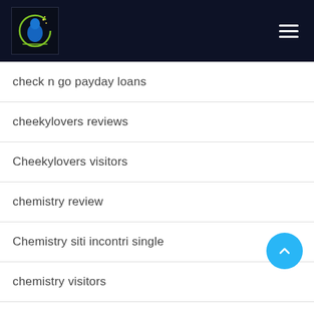[Figure (logo): Website logo: circular icon with blue dog/animal silhouette and green/yellow accents on dark background]
check n go payday loans
cheekylovers reviews
Cheekylovers visitors
chemistry review
Chemistry siti incontri single
chemistry visitors
Chicago+IL+Illinois hookup